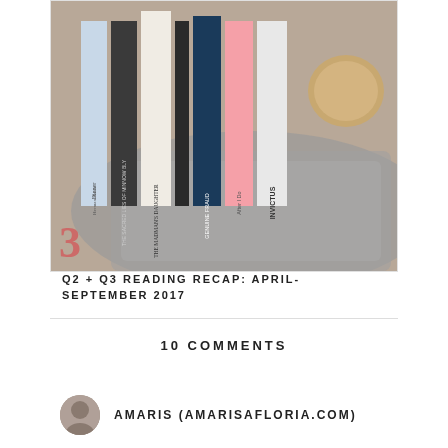[Figure (photo): A flat-lay photo of several book spines arranged with a grey knit blanket and a cork coaster on a wooden surface. Visible titles include: Dinner by Herman Koch, The Sacred Lies of Minnow Bly, The Madman's Daughter, Genuine Fraud, After I Do, Invictus.]
Q2 + Q3 READING RECAP: APRIL-SEPTEMBER 2017
10 COMMENTS
AMARIS (AMARISAFLORIA.COM)